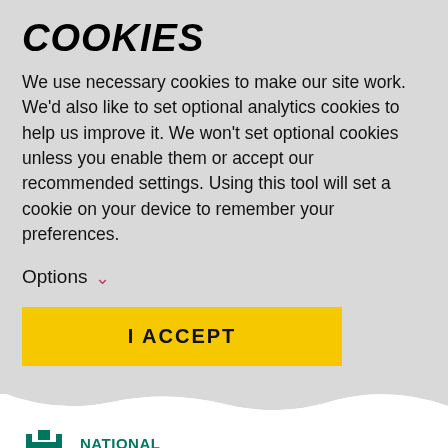COOKIES
We use necessary cookies to make our site work. We'd also like to set optional analytics cookies to help us improve it. We won't set optional cookies unless you enable them or accept our recommended settings. Using this tool will set a cookie on your device to remember your preferences.
Options
I ACCEPT
[Figure (logo): National Trust for Scotland logo in teal/green with castle and saltire motif]
NATIONAL TRUST for SCOTLAND
My Trust
VISIT   WHAT WE DO   STORIES   SHOP   JOIN